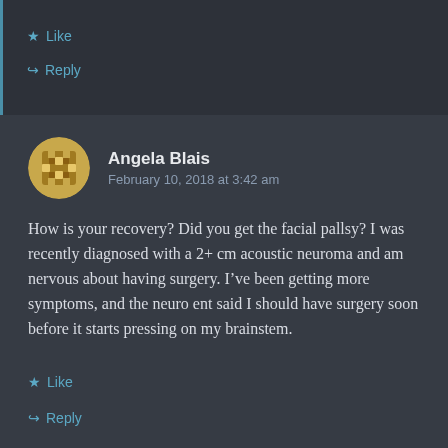★ Like
↪ Reply
Angela Blais
February 10, 2018 at 3:42 am
How is your recovery? Did you get the facial pallsy? I was recently diagnosed with a 2+ cm acoustic neuroma and am nervous about having surgery. I've been getting more symptoms, and the neuro ent said I should have surgery soon before it starts pressing on my brainstem.
★ Like
↪ Reply